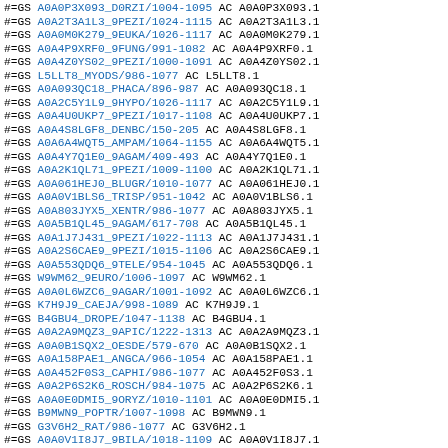#=GS A0A0P3X093_D0RZI/1004-1095  AC A0A0P3X093.1
#=GS A0A2T3A1L3_9PEZI/1024-1115  AC A0A2T3A1L3.1
#=GS A0A0M0K279_9EUKA/1026-1117  AC A0A0M0K279.1
#=GS A0A4P9XRF0_9FUNG/991-1082   AC A0A4P9XRF0.1
#=GS A0A4Z0YS02_9PEZI/1000-1091  AC A0A4Z0YS02.1
#=GS L5LLT8_MYODS/986-1077       AC L5LLT8.1
#=GS A0A093QC18_PHACA/896-987    AC A0A093QC18.1
#=GS A0A2C5Y1L9_9HYPO/1026-1117  AC A0A2C5Y1L9.1
#=GS A0A4U0UKP7_9PEZI/1017-1108  AC A0A4U0UKP7.1
#=GS A0A4S8LGF8_DENBC/150-205    AC A0A4S8LGF8.1
#=GS A0A6A4WQT5_AMPAM/1064-1155  AC A0A6A4WQT5.1
#=GS A0A4Y7Q1E0_9AGAM/409-493    AC A0A4Y7Q1E0.1
#=GS A0A2K1QL71_9PEZI/1009-1100  AC A0A2K1QL71.1
#=GS A0A061HEJ0_BLUGR/1010-1077  AC A0A061HEJ0.1
#=GS A0A0V1BLS6_TRISP/951-1042   AC A0A0V1BLS6.1
#=GS A0A803JYX5_XENTR/986-1077   AC A0A803JYX5.1
#=GS A0A5B1QL45_9AGAM/617-708    AC A0A5B1QL45.1
#=GS A0A1J7J431_9PEZI/1022-1113  AC A0A1J7J431.1
#=GS A0A2S6CAE9_9PEZI/1015-1106  AC A0A2S6CAE9.1
#=GS A0A553QDQ6_9TELE/954-1045   AC A0A553QDQ6.1
#=GS W9WM62_9EURO/1006-1097      AC W9WM62.1
#=GS A0A0L6WZC6_9AGAR/1001-1092  AC A0A0L6WZC6.1
#=GS K7H9J9_CAEJA/998-1089       AC K7H9J9.1
#=GS B4GBU4_DROPE/1047-1138      AC B4GBU4.1
#=GS A0A2A9MQZ3_9APIC/1222-1313  AC A0A2A9MQZ3.1
#=GS A0A0B1SQX2_OESDE/579-670    AC A0A0B1SQX2.1
#=GS A0A158PAE1_ANGCA/966-1054   AC A0A158PAE1.1
#=GS A0A452F0S3_CAPHI/986-1077   AC A0A452F0S3.1
#=GS A0A2P6S2K6_ROSCH/984-1075   AC A0A2P6S2K6.1
#=GS A0A0E0DMI5_9ORYZ/1010-1101  AC A0A0E0DMI5.1
#=GS B9MWN9_POPTR/1007-1098      AC B9MWN9.1
#=GS G3V6H2_RAT/986-1077         AC G3V6H2.1
#=GS A0A0V1I8J7_9BILA/1018-1109  AC A0A0V1I8J7.1